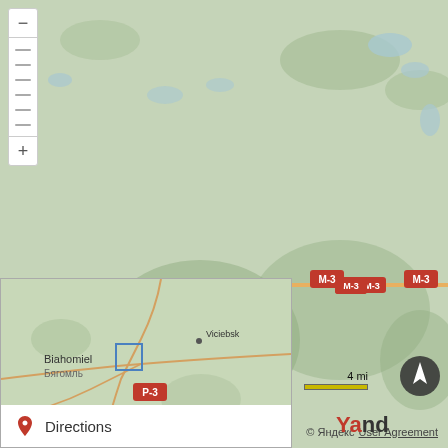[Figure (map): Yandex map showing the Domzharycy / Домжарыцы area in Belarus. Road M-3 runs east-west. Location pin on Domzharycy. Biahomiel / Бягомль to the west. Inset mini-map shows Minsk and Viciebsk context with a blue rectangle indicating current view area.]
Biahomiel
Бягомль
Domzharycy
Домжарыцы
Viciebsk
Minsk
Directions
4 mi
© Яндекс
User Agreement